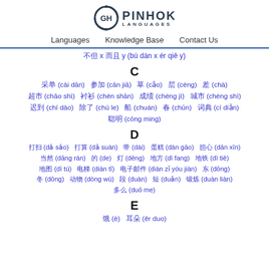[Figure (logo): Pinhok Languages logo with circular arrow icon]
Languages   Knowledge Base   Contact Us
不但 x 而且 y (bù dàn x ér qiě y)
C
采单 (cài dān)  参加 (cān jiā)  草 (cǎo)  层 (céng)  差 (chà)  超市 (chāo shì)  衬衫 (chèn shān)  成绩 (chéng jì)  城市 (chéng shì)  迟到 (chí dào)  除了 (chú le)  船 (chuán)  春 (chūn)  词典 (cí diǎn)  聪明 (cōng ming)
D
打扫 (dǎ sǎo)  打算 (dǎ suàn)  带 (dài)  蛋糕 (dàn gāo)  担心 (dān xīn)  当然 (dāng rán)  的 (de)  灯 (dēng)  地方 (dì fang)  地铁 (dì tiě)  地图 (dì tú)  电梯 (diàn tī)  电子邮件 (diàn zǐ yóu jiàn)  东 (dōng)  冬 (dōng)  动物 (dòng wù)  段 (duàn)  短 (duǎn)  锻炼 (duàn liàn)  多么 (duō me)
E
饿 (è)  耳朵 (ěr duo)